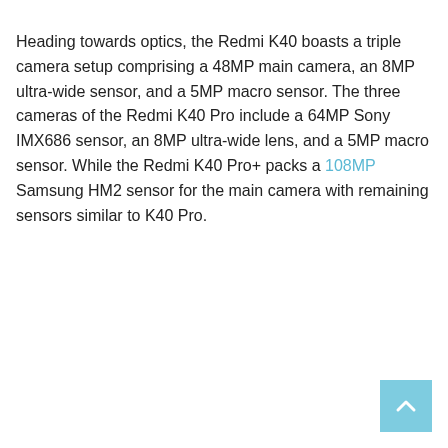Heading towards optics, the Redmi K40 boasts a triple camera setup comprising a 48MP main camera, an 8MP ultra-wide sensor, and a 5MP macro sensor. The three cameras of the Redmi K40 Pro include a 64MP Sony IMX686 sensor, an 8MP ultra-wide lens, and a 5MP macro sensor. While the Redmi K40 Pro+ packs a 108MP Samsung HM2 sensor for the main camera with remaining sensors similar to K40 Pro.